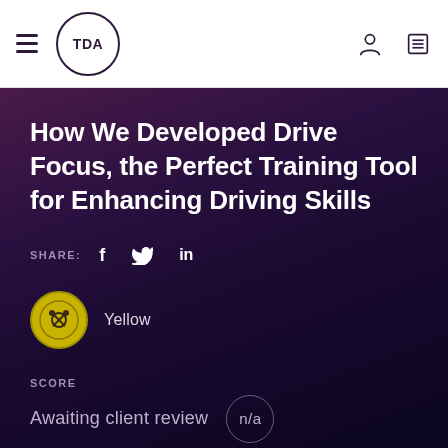TDA
How We Developed Drive Focus, the Perfect Training Tool for Enhancing Driving Skills
SHARE: f  in
[Figure (logo): Yellow circular author avatar with scissors/flower icon]
Yellow
SCORE
Awaiting client review   n/a
DATE PUBLISHED
14 July 2020